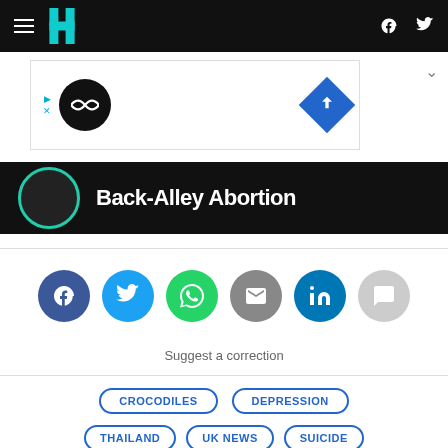HuffPost navigation with hamburger menu, logo, Facebook and Twitter icons
[Figure (screenshot): Advertisement banner with logo circle and diamond arrow icon]
[Figure (screenshot): Article image strip with circular logo and title text: Back-Alley Abortion]
[Figure (infographic): Social sharing buttons: Facebook, Twitter, WhatsApp, Email, LinkedIn, Comments]
Suggest a correction
CROCODILES
DEPRESSION
THAILAND
UK NEWS
SUICIDE